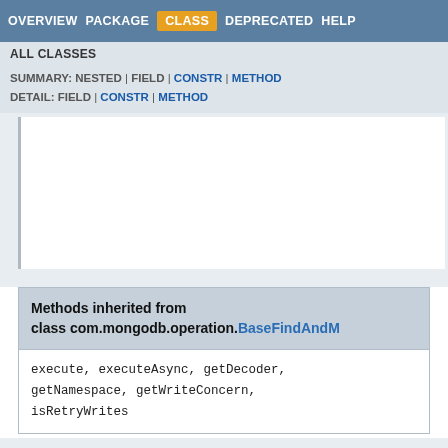OVERVIEW | PACKAGE | CLASS | DEPRECATED | HELP
ALL CLASSES
SUMMARY: NESTED | FIELD | CONSTR | METHOD
DETAIL: FIELD | CONSTR | METHOD
Methods inherited from class com.mongodb.operation.BaseFindAndM
execute, executeAsync, getDecoder, getNamespace, getWriteConcern, isRetryWrites